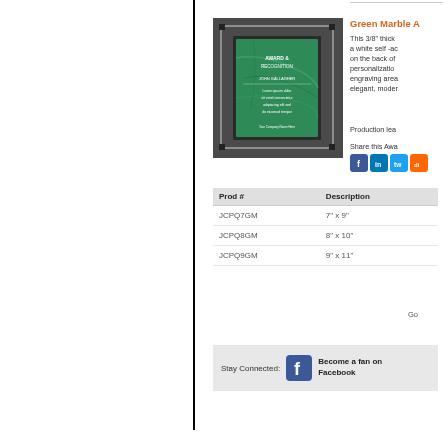[Figure (photo): Green marble award plaque with clear acrylic frame, displayed on dark fabric background]
Green Marble A[ward]
This 3/8" thick [acrylic features] a white self-ac[hesive paper] on the back of [the acrylic for] personalizatio[n. Large] engraving area[. Creates an] elegant, moder[n look.]
Production lea[d time...]
Share this Awa[rd]
| Prod # | Description |
| --- | --- |
| JCPQ7GM | 7" x 9" |
| JCPQ8GM | 8" x 10" |
| JCPQ9GM | 9" x 11" |
Go
Stay Connected:
Become a fan on Facebook